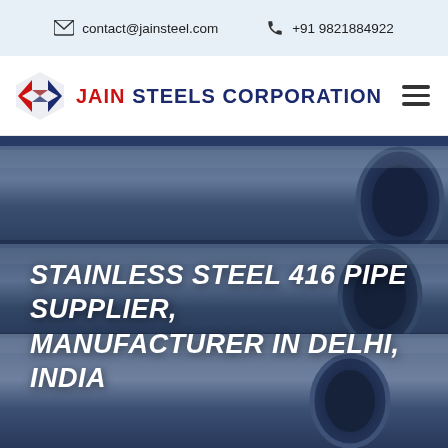contact@jainsteel.com   +91 9821884922
[Figure (logo): Jain Steels Corporation logo with stylized JS emblem in red and blue]
STAINLESS STEEL 416 PIPE SUPPLIER, MANUFACTURER IN DELHI, INDIA
[Figure (photo): Close-up photo of stainless steel pipes arranged together, with a dark blue-grey tone overlay]